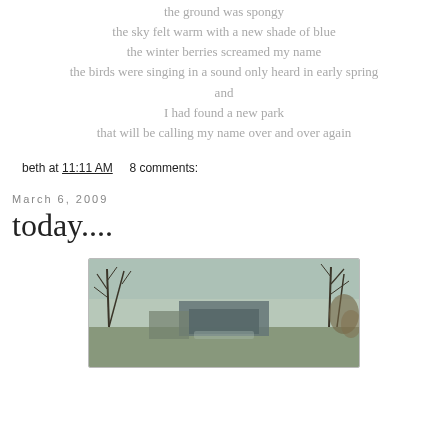the ground was spongy
the sky felt warm with a new shade of blue
the winter berries screamed my name
the birds were singing in a sound only heard in early spring
and
I had found a new park
that will be calling my name over and over again
beth at 11:11 AM    8 comments:
March 6, 2009
today....
[Figure (photo): Outdoor photograph showing bare winter trees and a stone or concrete structure, taken in early spring light with muted green and brown tones]